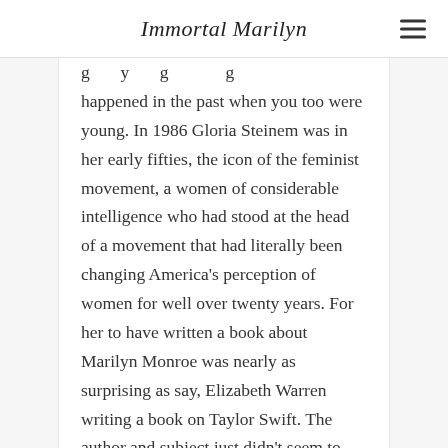Immortal Marilyn
g y g happened in the past when you too were young. In 1986 Gloria Steinem was in her early fifties, the icon of the feminist movement, a women of considerable intelligence who had stood at the head of a movement that had literally been changing America's perception of women for well over twenty years. For her to have written a book about Marilyn Monroe was nearly as surprising as say, Elizabeth Warren writing a book on Taylor Swift. The author and subject just didn't seem to mesh, the differences between them so vast that one wasn't sure if it was a